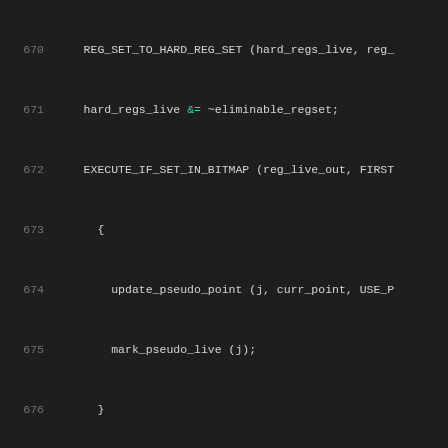[Figure (screenshot): Source code listing showing lines 670-690 of a C program related to register allocation, displayed in a dark-themed code editor. Lines show register set operations, pseudo register handling, bitmap operations, frequency calculation, and a loop comment about scanning basic block code.]